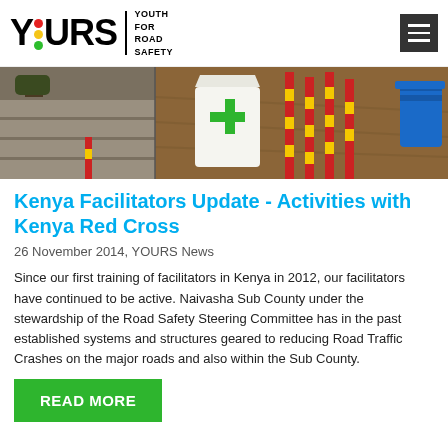YOURS | YOUTH FOR ROAD SAFETY
[Figure (photo): Outdoor scene showing road safety equipment including red and yellow poles, a green first aid kit box, and dirt ground]
Kenya Facilitators Update - Activities with Kenya Red Cross
26 November 2014, YOURS News
Since our first training of facilitators in Kenya in 2012, our facilitators have continued to be active. Naivasha Sub County under the stewardship of the Road Safety Steering Committee has in the past established systems and structures geared to reducing Road Traffic Crashes on the major roads and also within the Sub County.
READ MORE